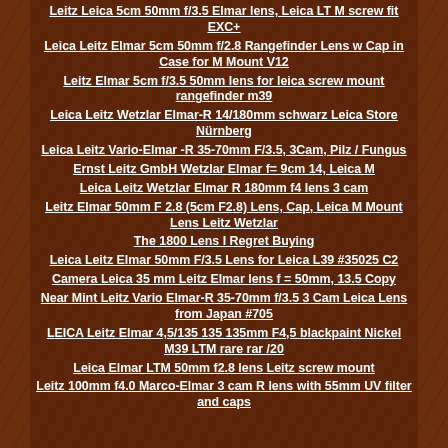Leitz Leica 5cm 50mm f/3.5 Elmar lens, Leica LT M screw fit EXC+
Leica Leitz Elmar 5cm 50mm f/2.8 Rangefinder Lens w Cap in Case for M Mount V12
Leitz Elmar 5cm f/3.5 50mm lens for leica screw mount rangefinder m39
Leica Leitz Wetzlar Elmar-R 14/180mm schwarz Leica Store Nürnberg
Leica Leitz Vario-Elmar -R 35-70mm F/3.5, 3Cam, Pilz / Fungus
Ernst Leitz GmbH Wetzlar Elmar f= 9cm 14, Leica M
Leica Leitz Wetzlar Elmar R 180mm f4 lens 3 cam
Leitz Elmar 50mm F 2.8 (5cm F2.8) Lens, Cap, Leica M Mount Lens Leitz Wetzlar
The 1800 Lens I Regret Buying
Leica Leitz Elmar 50mm F/3.5 Lens for Leica L39 #35025 C2
Camera Leica 35 mm Leitz Elmar lens f = 50mm, 13.5 Copy
Near Mint Leitz Vario Elmar-R 35-70mm f/3.5 3 Cam Leica Lens from Japan #705
LEICA Leitz Elmar 4,5/135 135 135mm F4,5 blackpaint Nickel M39 LTM rare rar /20
Leica Elmar LTM 50mm f2.8 lens Leitz screw mount
Leitz 100mm f4.0 Marco-Elmar 3 cam R lens with 55mm UV filter and caps